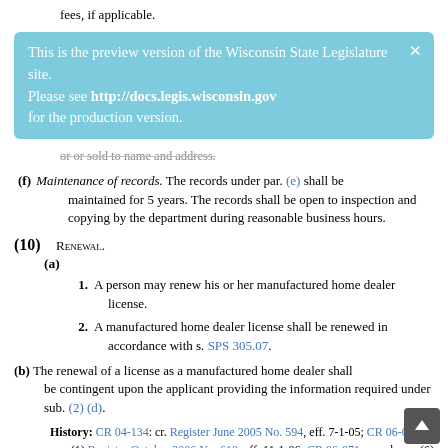fees, if applicable.
[Figure (infographic): Preview banner: 'This is the preview version of the Wisconsin State Legislature site. Please see http://docs.legis.wisconsin.gov for the production version.' with a close X button, styled in light blue.]
or or sold to name and address.
(f) Maintenance of records. The records under par. (e) shall be maintained for 5 years. The records shall be open to inspection and copying by the department during reasonable business hours.
(10) Renewal.
(a)
1. A person may renew his or her manufactured home dealer license.
2. A manufactured home dealer license shall be renewed in accordance with s. SPS 305.07.
(b) The renewal of a license as a manufactured home dealer shall be contingent upon the applicant providing the information required under sub. (2) (d).
History: CR 04-134: cr. Register June 2005 No. 594, eff. 7-1-05; CR 06-031: am. (1) Register October 2006 No. 610, eff. 11-1-06; CR 06-071: r. and recr. (6) (f), am. (6) (h) Register November 2006 No. 611, eff. 12-1-06; CR 11-020: am. (6) (e) (intro.), (i) (intro.), ( (b), renum. (6) (e) 4., (f) to (g) to be (6) (f), (g) to (k), Register